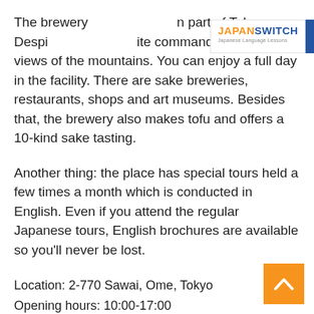[Figure (logo): JapanSwitch logo with orange JAPAN and blue SWITCH text, subtitle Japanese Language Lessons]
[Figure (other): Blue hamburger menu button with three white horizontal lines]
The brewery [is located in a] part of Tokyo. Despite [its location,] the site commands spectacular views of the mountains. You can enjoy a full day in the facility. There are sake breweries, restaurants, shops and art museums. Besides that, the brewery also makes tofu and offers a 10-kind sake tasting.
Another thing: the place has special tours held a few times a month which is conducted in English. Even if you attend the regular Japanese tours, English brochures are available so you'll never be lost.
Location: 2-770 Sawai, Ome, Tokyo
Opening hours: 10:00-17:00
Fee: Free
www.sawanoi-sake.com/en
[Figure (other): Orange back-to-top button with white chevron arrow]